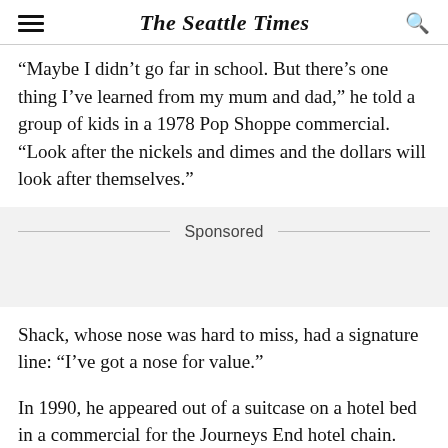The Seattle Times
“Maybe I didn’t go far in school. But there’s one thing I’ve learned from my mum and dad,” he told a group of kids in a 1978 Pop Shoppe commercial. “Look after the nickels and dimes and the dollars will look after themselves.”
Sponsored
Shack, whose nose was hard to miss, had a signature line: “I’ve got a nose for value.”
In 1990, he appeared out of a suitcase on a hotel bed in a commercial for the Journeys End hotel chain.